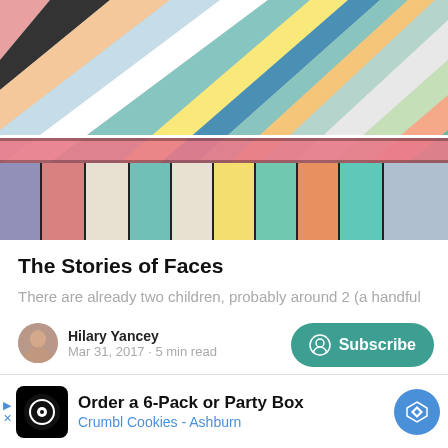[Figure (photo): Colorful diagonal painted wooden planks/boards arranged in a chevron pattern with many colors including pink, teal, yellow, blue, purple, orange, white, and red.]
The Stories of Faces
There are already two children, probably around 2 (a handful
Hilary Yancey
Mar 31, 2017 • 5 min read
Subscribe
Order a 6-Pack or Party Box
Crumbl Cookies - Ashburn